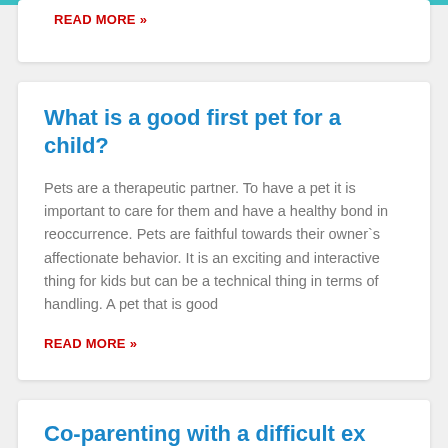READ MORE »
What is a good first pet for a child?
Pets are a therapeutic partner. To have a pet it is important to care for them and have a healthy bond in reoccurrence. Pets are faithful towards their owner`s affectionate behavior. It is an exciting and interactive thing for kids but can be a technical thing in terms of handling. A pet that is good
READ MORE »
Co-parenting with a difficult ex